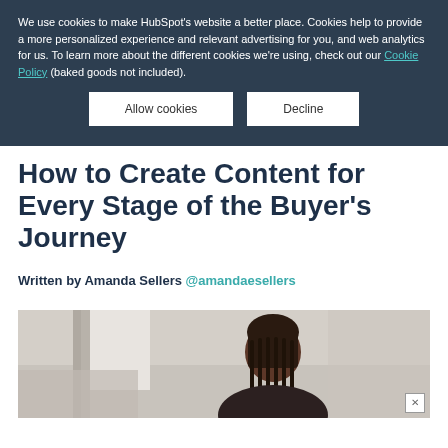We use cookies to make HubSpot's website a better place. Cookies help to provide a more personalized experience and relevant advertising for you, and web analytics for us. To learn more about the different cookies we're using, check out our Cookie Policy (baked goods not included).
Allow cookies | Decline
How to Create Content for Every Stage of the Buyer's Journey
Written by Amanda Sellers @amandaesellers
[Figure (photo): Photo of a woman with braids, partially visible, in what appears to be an interior setting with blurred background.]